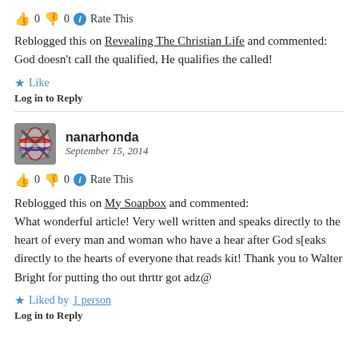👍 0 👎 0 ℹ Rate This
Reblogged this on Revealing The Christian Life and commented:
God doesn't call the qualified, He qualifies the called!
★ Like
Log in to Reply
nanarhonda
September 15, 2014
👍 0 👎 0 ℹ Rate This
Reblogged this on My Soapbox and commented:
What wonderful article! Very well written and speaks directly to the heart of every man and woman who have a hear after God s[eaks directly to the hearts of everyone that reads kit! Thank you to Walter Bright for putting tho out thrttr got adz@
★ Liked by 1 person
Log in to Reply